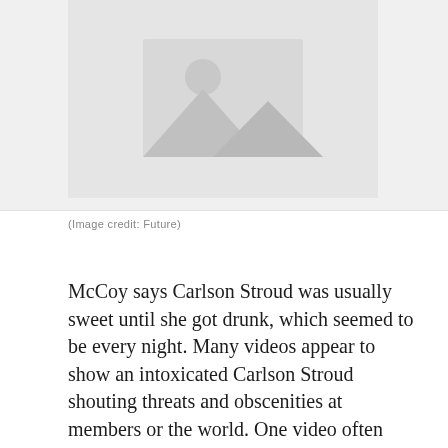[Figure (photo): Image placeholder with mountain/landscape icon on grey background]
(Image credit: Future)
McCoy says Carlson Stroud was usually sweet until she got drunk, which seemed to be every night. Many videos appear to show an intoxicated Carlson Stroud shouting threats and obscenities at members or the world. One video often cited by detractors appears to show Carlson Stroud disciplining a crying child by putting him in a closet. In another, she berates